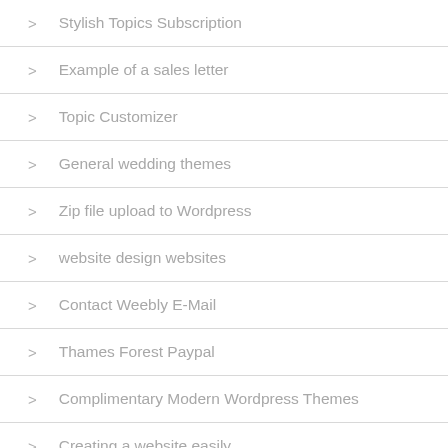Stylish Topics Subscription
Example of a sales letter
Topic Customizer
General wedding themes
Zip file upload to Wordpress
website design websites
Contact Weebly E-Mail
Thames Forest Paypal
Complimentary Modern Wordpress Themes
Creating a website easily
Professional free website
For Web Design
Wordpress module
Windows 10 chrome themes
Generate a children's theme
Woocommerce Studioapress